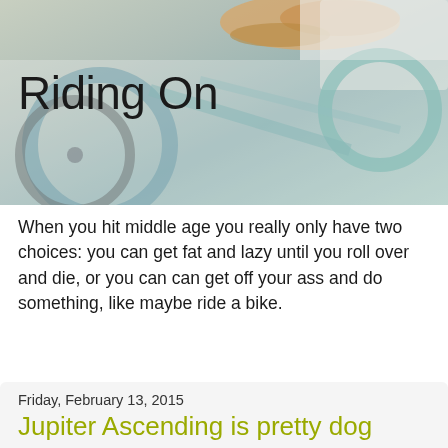[Figure (photo): Background photo of bicycle parts including handlebars and frame with blurred green and tan colors]
Riding On
When you hit middle age you really only have two choices: you can get fat and lazy until you roll over and die, or you can can get off your ass and do something, like maybe ride a bike.
Friday, February 13, 2015
Jupiter Ascending is pretty dog gone good!
I went to see "Jupiter Ascending" last evening with a friend - and we both really enjoyed it.  In fact, I thought it was pretty damn good entertainment, which is one of the main reasons I go to the movies.  This morning I started looking at some of the reviews out there to see why people seem so against this movie.  Surprisingly, every critic that I read brought up some comparison to "The Matrix," and how old is that movie?  Then I realized that was the problem - "The Matrix"